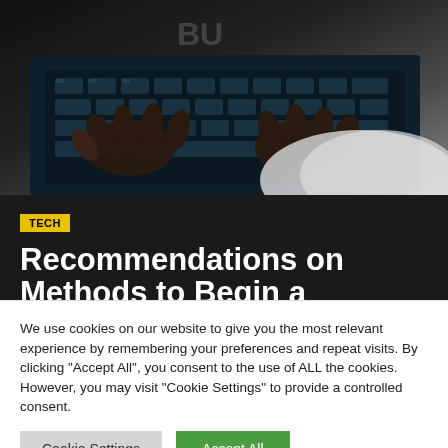[Figure (photo): Close-up photo of hands typing on a dark laptop keyboard]
TECH
Recommendations on Methods to Begin a Profession as Freelance Graphic Designer
We use cookies on our website to give you the most relevant experience by remembering your preferences and repeat visits. By clicking "Accept All", you consent to the use of ALL the cookies. However, you may visit "Cookie Settings" to provide a controlled consent.
Cookie Settings | Accept All